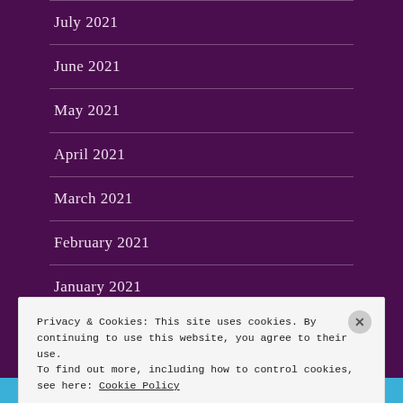July 2021
June 2021
May 2021
April 2021
March 2021
February 2021
January 2021
Privacy & Cookies: This site uses cookies. By continuing to use this website, you agree to their use.
To find out more, including how to control cookies, see here: Cookie Policy
Close and accept